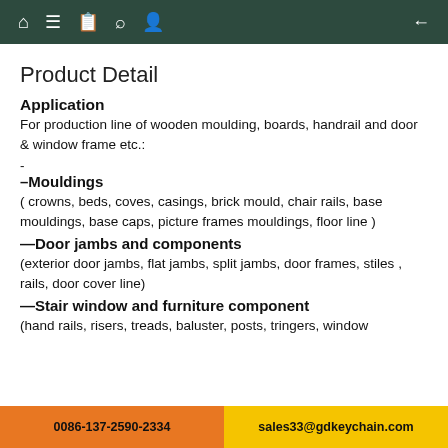Navigation bar with home, menu, document, search, user icons and back arrow
Product Detail
Application
For production line of wooden moulding, boards, handrail and door & window frame etc.:
-
–Mouldings
( crowns, beds, coves, casings, brick mould, chair rails, base mouldings, base caps, picture frames mouldings, floor line )
—Door jambs and components
(exterior door jambs, flat jambs, split jambs, door frames, stiles , rails, door cover line)
—Stair window and furniture component
(hand rails, risers, treads, baluster, posts, tringers, window
0086-137-2590-2334    sales33@gdkeychain.com